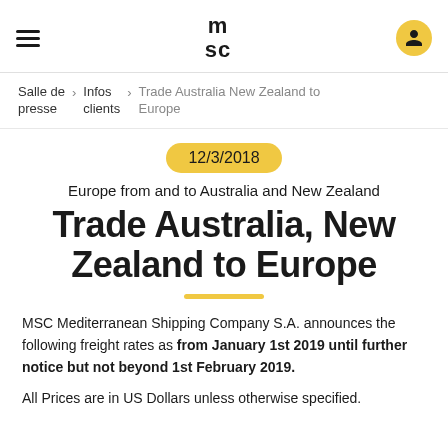MSC logo header with hamburger menu and user icon
Salle de presse > Infos clients > Trade Australia New Zealand to Europe
12/3/2018
Europe from and to Australia and New Zealand
Trade Australia, New Zealand to Europe
MSC Mediterranean Shipping Company S.A. announces the following freight rates as from January 1st 2019 until further notice but not beyond 1st February 2019.
All Prices are in US Dollars unless otherwise specified.